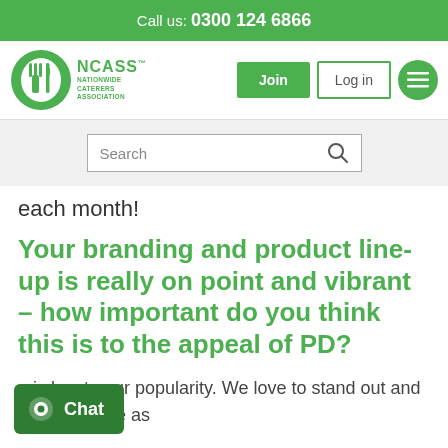Call us: 0300 124 6866
[Figure (logo): NCASS Nationwide Caterers Association logo with green circle containing fork and knife]
each month!
Your branding and product line-up is really on point and vibrant – how important do you think this is to the appeal of PD?
g is key to our popularity. We love to stand out and we try and be as